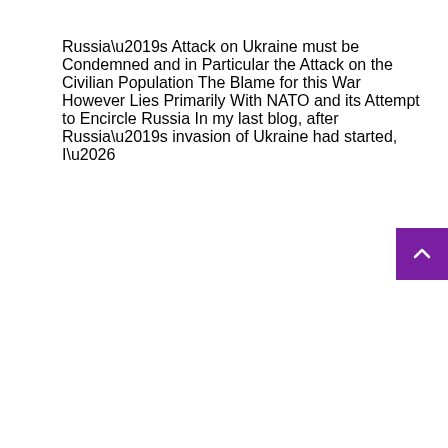Russia’s Attack on Ukraine must be Condemned and in Particular the Attack on the Civilian Population The Blame for this War However Lies Primarily With NATO and its Attempt to Encircle Russia In my last blog, after Russia’s invasion of Ukraine had started, I…